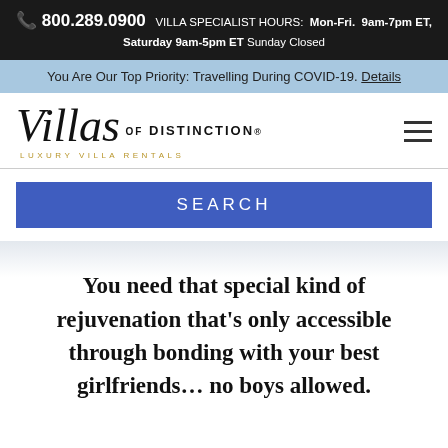📞 800.289.0900  VILLA SPECIALIST HOURS:  Mon-Fri.  9am-7pm ET, Saturday 9am-5pm ET  Sunday Closed
You Are Our Top Priority: Travelling During COVID-19. Details
[Figure (logo): Villas of Distinction – Luxury Villa Rentals logo in italic serif font with hamburger menu icon on the right]
SEARCH
You need that special kind of rejuvenation that's only accessible through bonding with your best girlfriends… no boys allowed.